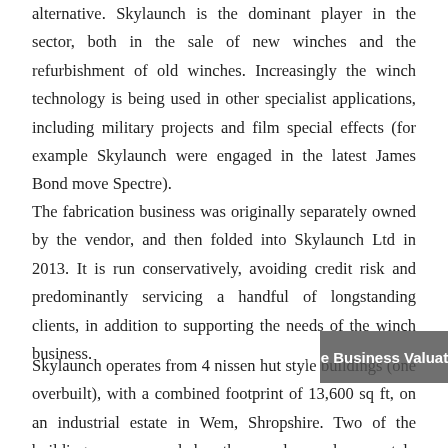alternative. Skylaunch is the dominant player in the sector, both in the sale of new winches and the refurbishment of old winches. Increasingly the winch technology is being used in other specialist applications, including military projects and film special effects (for example Skylaunch were engaged in the latest James Bond move Spectre).
The fabrication business was originally separately owned by the vendor, and then folded into Skylaunch Ltd in 2013. It is run conservatively, avoiding credit risk and predominantly servicing a handful of longstanding clients, in addition to supporting the needs of the winch business.
Skylaunch operates from 4 nissen hut style buildings (one overbuilt), with a combined footprint of 13,600 sq ft, on an industrial estate in Wem, Shropshire. Two of the buildings are owned by the vendor and separately available to